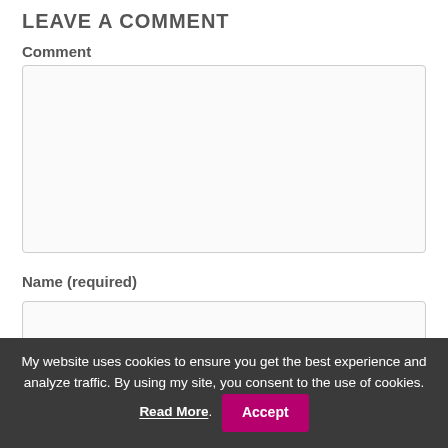LEAVE A COMMENT
Comment
[Figure (other): Large empty textarea for comment input]
Name (required)
[Figure (other): Single-line text input for name]
My website uses cookies to ensure you get the best experience and analyze traffic. By using my site, you consent to the use of cookies. Read More. Accept